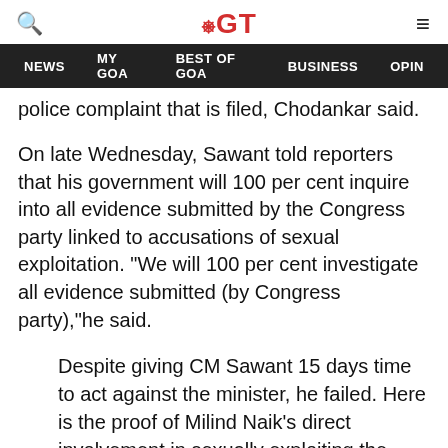AGT — NEWS | MY GOA | BEST OF GOA | BUSINESS | OPIN
police complaint that is filed, Chodankar said.
On late Wednesday, Sawant told reporters that his government will 100 per cent inquire into all evidence submitted by the Congress party linked to accusations of sexual exploitation. "We will 100 per cent investigate all evidence submitted (by Congress party),"he said.
Despite giving CM Sawant 15 days time to act against the minister, he failed. Here is the proof of Milind Naik's direct involvement in sexually exploiting the victim (identity not revealed).